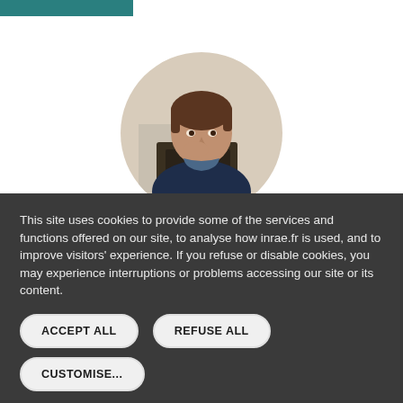[Figure (photo): Circular cropped photo of a woman with short brown hair, seated at a table with a laptop, chin resting on hand, in a conference/meeting setting. White/beige background.]
This site uses cookies to provide some of the services and functions offered on our site, to analyse how inrae.fr is used, and to improve visitors' experience. If you refuse or disable cookies, you may experience interruptions or problems accessing our site or its content.
ACCEPT ALL
REFUSE ALL
CUSTOMISE...